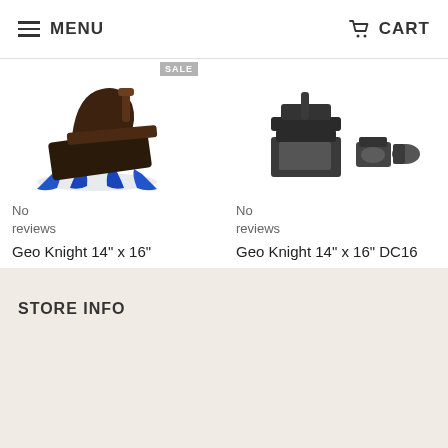MENU   CART
[Figure (photo): Heat press machine (clamshell style, blue base) product photo with SALE badge]
[Figure (photo): Geo Knight DC16 Multi Heat Press Machine product photo showing multiple attachments]
No reviews
Geo Knight 14" x 16" Clamshell DK16 Heat Press Transfer Machine
Sold Out $1,200.00
No reviews
Geo Knight 14" x 16" DC16 Multi Heat Press Machine
Sold Out
STORE INFO